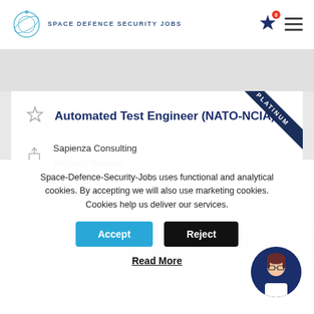SPACE DEFENCE SECURITY JOBS
Automated Test Engineer (NATO-NCIA)
Sapienza Consulting
Belgium, Remore
Space-Defence-Security-Jobs uses functional and analytical cookies. By accepting we will also use marketing cookies. Cookies help us deliver our services.
Accept
Reject
Read More